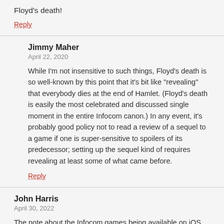Floyd's death!
Reply
Jimmy Maher
April 22, 2020
While I'm not insensitive to such things, Floyd's death is so well-known by this point that it's bit like "revealing" that everybody dies at the end of Hamlet. (Floyd's death is easily the most celebrated and discussed single moment in the entire Infocom canon.) In any event, it's probably good policy not to read a review of a sequel to a game if one is super-sensitive to spoilers of its predecessor; setting up the sequel kind of requires revealing at least some of what came before.
Reply
John Harris
April 30, 2022
The note about the Infocom games being available on iOS seems almost cruel now that most of the App Store games from 2015 are unplayable now.